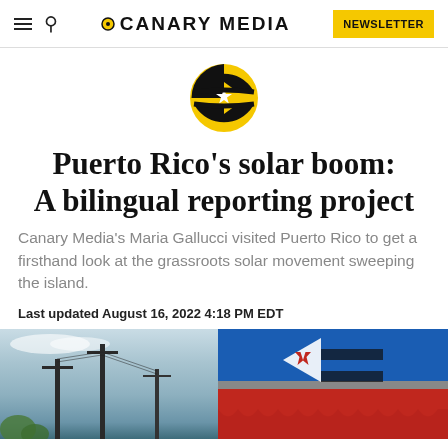CANARY MEDIA  NEWSLETTER
[Figure (logo): Canary Media logo icon: circular emblem with black and yellow segments and a white star]
Puerto Rico's solar boom: A bilingual reporting project
Canary Media's Maria Gallucci visited Puerto Rico to get a firsthand look at the grassroots solar movement sweeping the island.
Last updated August 16, 2022 4:18 PM EDT
[Figure (photo): Split photo: left side shows power line poles against a cloudy sky in Puerto Rico; right side shows a red and blue building with a Puerto Rico flag star emblem]